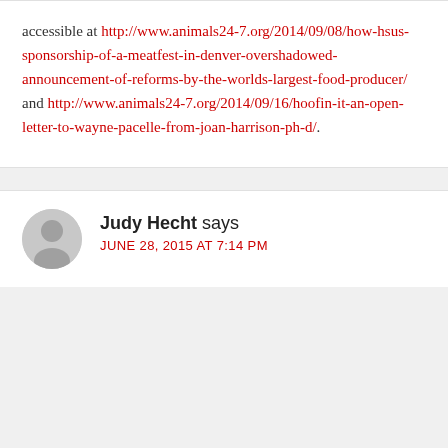accessible at http://www.animals24-7.org/2014/09/08/how-hsus-sponsorship-of-a-meatfest-in-denver-overshadowed-announcement-of-reforms-by-the-worlds-largest-food-producer/ and http://www.animals24-7.org/2014/09/16/hoofin-it-an-open-letter-to-wayne-pacelle-from-joan-harrison-ph-d/.
Judy Hecht says
JUNE 28, 2015 AT 7:14 PM